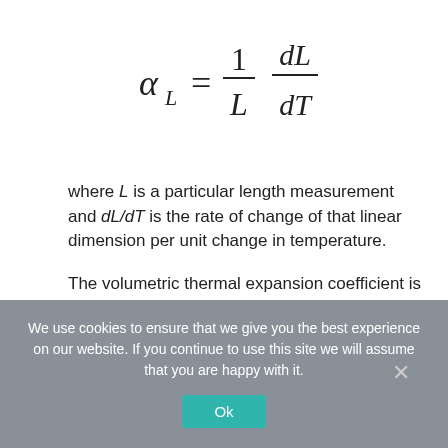where L is a particular length measurement and dL/dT is the rate of change of that linear dimension per unit change in temperature.
The volumetric thermal expansion coefficient is the most basic thermal expansion coefficient, and the most relevant for fluids. In general, substances expand or contract when their temperature changes, with expansion or contraction occurring in all directions.
We use cookies to ensure that we give you the best experience on our website. If you continue to use this site we will assume that you are happy with it.